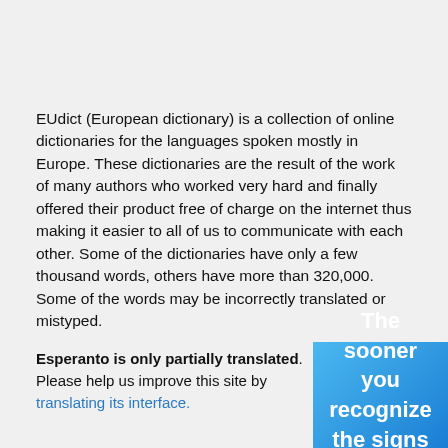EUdict (European dictionary) is a collection of online dictionaries for the languages spoken mostly in Europe. These dictionaries are the result of the work of many authors who worked very hard and finally offered their product free of charge on the internet thus making it easier to all of us to communicate with each other. Some of the dictionaries have only a few thousand words, others have more than 320,000. Some of the words may be incorrectly translated or mistyped.
Esperanto is only partially translated. Please help us improve this site by translating its interface.
The sooner you recognize the signs of